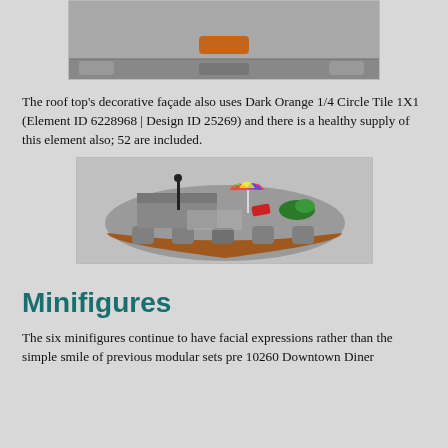[Figure (photo): Partial top view of a LEGO set showing grey brick surface with orange colored elements, cropped at the top of the page]
The roof top's decorative façade also uses Dark Orange 1/4 Circle Tile 1X1 (Element ID 6228968 | Design ID 25269) and there is a healthy supply of this element also; 52 are included.
[Figure (photo): LEGO modular building rooftop scene showing grey arched facade with dark orange accents, a colorful beach umbrella, red beach chair, black lamp post, and green plant details, viewed from above at an angle]
Minifigures
The six minifigures continue to have facial expressions rather than the simple smile of previous modular sets pre 10260 Downtown Diner